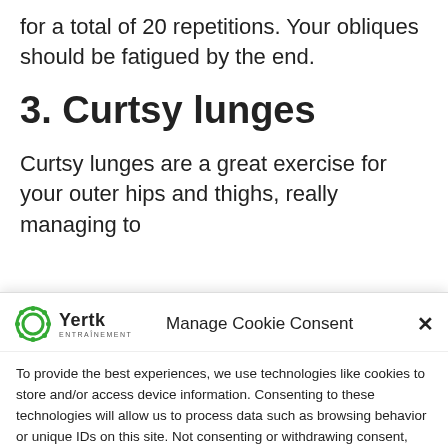for a total of 20 repetitions. Your obliques should be fatigued by the end.
3. Curtsy lunges
Curtsy lunges are a great exercise for your outer hips and thighs, really managing to
Manage Cookie Consent
To provide the best experiences, we use technologies like cookies to store and/or access device information. Consenting to these technologies will allow us to process data such as browsing behavior or unique IDs on this site. Not consenting or withdrawing consent, may adversely affect certain features and functions.
Accept